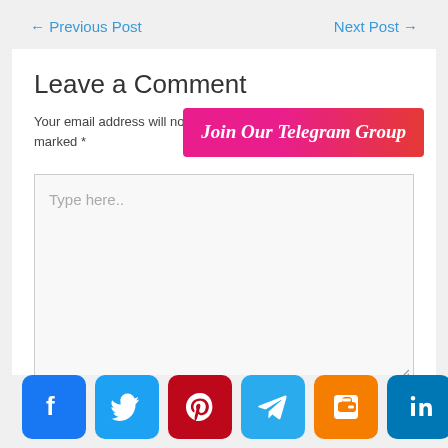← Previous Post    Next Post →
Leave a Comment
Your email address will not be published. Required fields are marked *
[Figure (other): Join Our Telegram Group button - pink/red gradient button with white italic text]
Type here..
[Figure (infographic): Social sharing bar with icons: Facebook, Twitter, Pinterest, Telegram, Blogger, LinkedIn, WhatsApp, More]